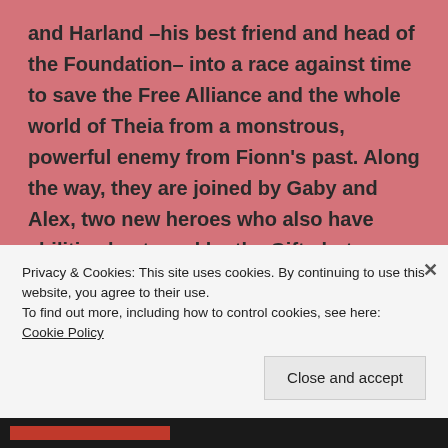and Harland –his best friend and head of the Foundation– into a race against time to save the Free Alliance and the whole world of Theia from a monstrous, powerful enemy from Fionn's past. Along the way, they are joined by Gaby and Alex, two new heroes who also have abilities bestowed by the Gift –but manifest in their own personal ways– Sam, a powerful freefolk magick user –and Fionn's estranged adopted daughter– and Sid, a loud mouth samoharo – a reptilian species– and pilot/owner of
Privacy & Cookies: This site uses cookies. By continuing to use this website, you agree to their use.
To find out more, including how to control cookies, see here: Cookie Policy
Close and accept